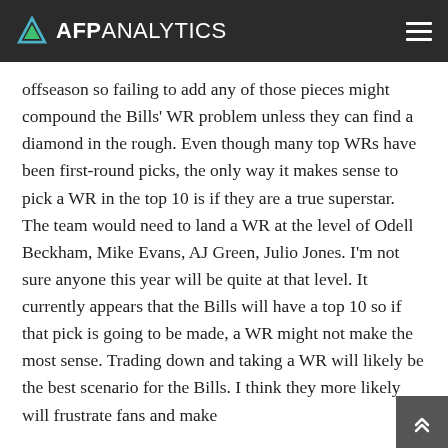AFP ANALYTICS
offseason so failing to add any of those pieces might compound the Bills' WR problem unless they can find a diamond in the rough. Even though many top WRs have been first-round picks, the only way it makes sense to pick a WR in the top 10 is if they are a true superstar. The team would need to land a WR at the level of Odell Beckham, Mike Evans, AJ Green, Julio Jones. I'm not sure anyone this year will be quite at that level. It currently appears that the Bills will have a top 10 so if that pick is going to be made, a WR might not make the most sense. Trading down and taking a WR will likely be the best scenario for the Bills. I think they more likely will frustrate fans and make